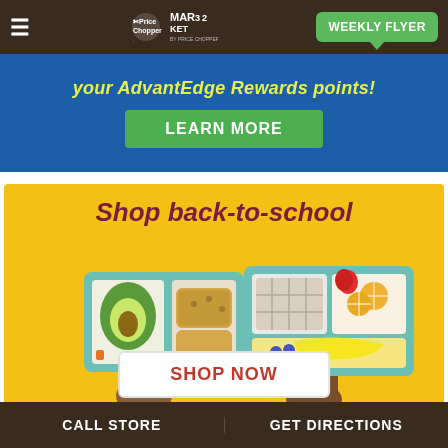Price Chopper Market 32 | WEEKLY FLYER
your AdvantEdge Rewards points!
LEARN MORE
Shop back-to-school
[Figure (illustration): Two hands holding school lunch trays with compartments containing avocado, sandwich, fruits, and other foods on a yellow background]
SHOP NOW
CALL STORE  |  GET DIRECTIONS